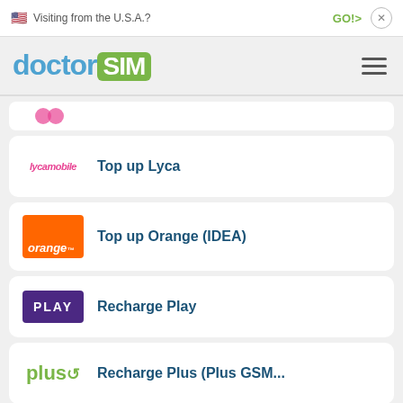Visiting from the U.S.A.?  GO!>  ×
[Figure (logo): doctorSIM logo with hamburger menu icon]
Top up Lyca
Top up Orange (IDEA)
Recharge Play
Recharge Plus (Plus GSM...
Top up T-Mobile (Era)
Recharge TK Telekom